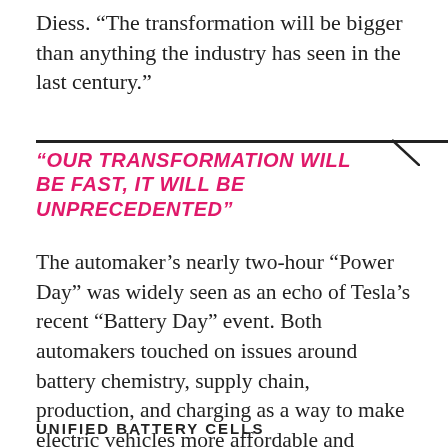Diess. “The transformation will be bigger than anything the industry has seen in the last century.”
"OUR TRANSFORMATION WILL BE FAST, IT WILL BE UNPRECEDENTED"
The automaker’s nearly two-hour “Power Day” was widely seen as an echo of Tesla’s recent “Battery Day” event. Both automakers touched on issues around battery chemistry, supply chain, production, and charging as a way to make electric vehicles more affordable and attractive to a wider swath of customers. Here are the biggest announcements from VW’s Power Day event:
UNIFIED BATTERY CELLS